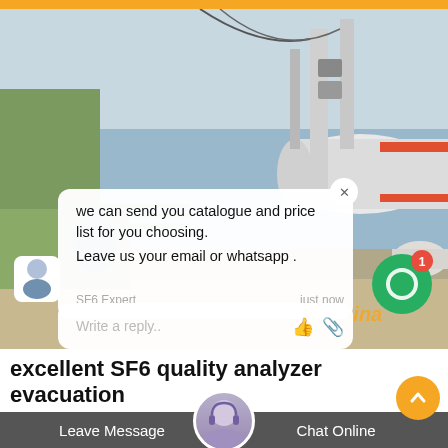[Figure (screenshot): SF6 gas handling equipment industrial site photo with chat overlay showing message: 'we can send you catalogue and price list for you choosing. Leave us your email or whatsapp.' from SF6 Expert, just now. Reply box below. Green chat button with badge 1. SF6China watermark.]
excellent SF6 quality analyzer evacuation manual
Leave Message    Chat Online
our company SF 6 Gas Handling Zero emissions and maximum